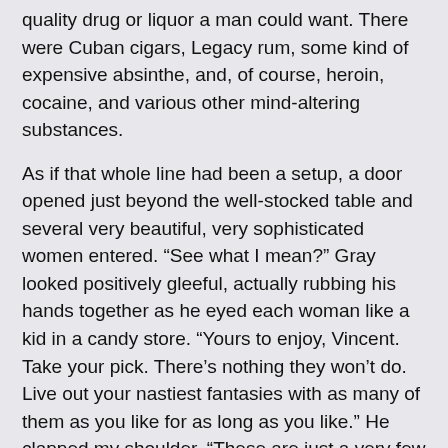quality drug or liquor a man could want. There were Cuban cigars, Legacy rum, some kind of expensive absinthe, and, of course, heroin, cocaine, and various other mind-altering substances.
As if that whole line had been a setup, a door opened just beyond the well-stocked table and several very beautiful, very sophisticated women entered. “See what I mean?” Gray looked positively gleeful, actually rubbing his hands together as he eyed each woman like a kid in a candy store. “Yours to enjoy, Vincent. Take your pick. There’s nothing they won’t do. Live out your nastiest fantasies with as many of them as you like for as long as you like.” He clapped my shoulder. “These are just a very few of the perks you can enjoy as one of us.”
Normally, I’d have smiled politely and passed, but one woman caught my eye in a huge way. She was ethereal in her beauty. Long, platinum-blonde hair, flawlessly pale skin. She’d dressed in red, naturally. Some skimpy little number I couldn’t even register. All I saw was the woman. Short and slight, she had rounded hips but was very slender. Her legs were perfectly formed. Just the right amount of muscle to